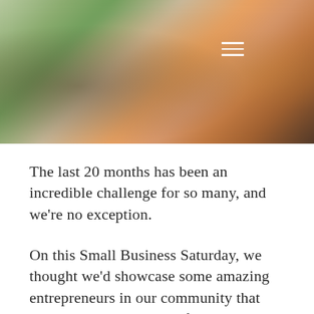[Figure (photo): Blurred photo of people in what appears to be a community or business setting, with warm orange and green tones. A hamburger menu icon (three white horizontal lines) is visible in the upper right area of the image.]
The last 20 months has been an incredible challenge for so many, and we're no exception.
On this Small Business Saturday, we thought we'd showcase some amazing entrepreneurs in our community that we've had the pleasure of partnering with during the pandemic.
These indivduals are true examples of business leaders in our